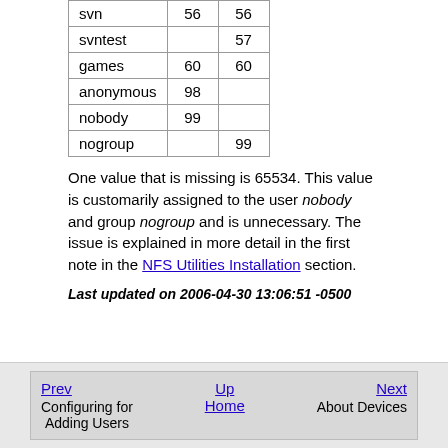|  |  |  |
| --- | --- | --- |
| svn | 56 | 56 |
| svntest |  | 57 |
| games | 60 | 60 |
| anonymous | 98 |  |
| nobody | 99 |  |
| nogroup |  | 99 |
One value that is missing is 65534. This value is customarily assigned to the user nobody and group nogroup and is unnecessary. The issue is explained in more detail in the first note in the NFS Utilities Installation section.
Last updated on 2006-04-30 13:06:51 -0500
Prev | Up | Next | Home | Configuring for Adding Users | About Devices